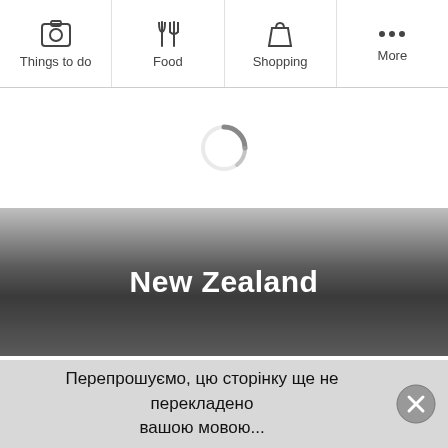[Figure (screenshot): Mobile app navigation bar with four tabs: Things to do (camera icon), Food (cutlery icon), Shopping (bag icon), More (ellipsis icon)]
[Figure (other): Loading spinner (circular arc, grey gradient) centered in white area]
[Figure (other): Grey gradient banner with bold white text 'New Zealand']
[Figure (other): Second loading spinner (circular arc, grey gradient) centered in white area]
Перепрошуємо, цю сторінку ще не перекладено вашою мовою...